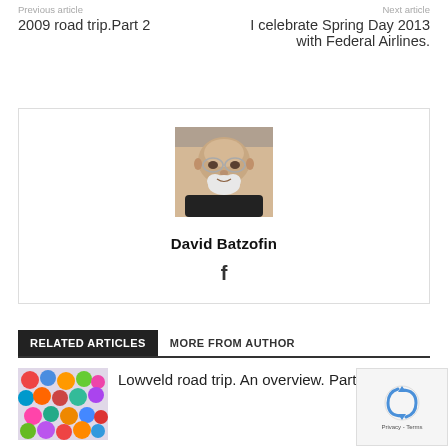Previous article
Next article
2009 road trip.Part 2
I celebrate Spring Day 2013 with Federal Airlines.
[Figure (photo): Portrait photo of David Batzofin, a bald older man with glasses and a white beard, wearing a dark shirt]
David Batzofin
f
RELATED ARTICLES
MORE FROM AUTHOR
[Figure (photo): Thumbnail image of colorful buttons/circles]
Lowveld road trip. An overview. Part 2